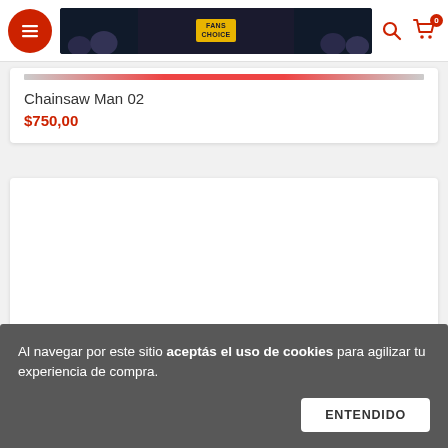[Figure (screenshot): Navigation bar with red hamburger menu button, banner image with Fans Choice text, search icon and cart icon with 0 badge]
Chainsaw Man 02
$750,00
[Figure (photo): Empty white card area for product image]
Al navegar por este sitio aceptás el uso de cookies para agilizar tu experiencia de compra.
ENTENDIDO